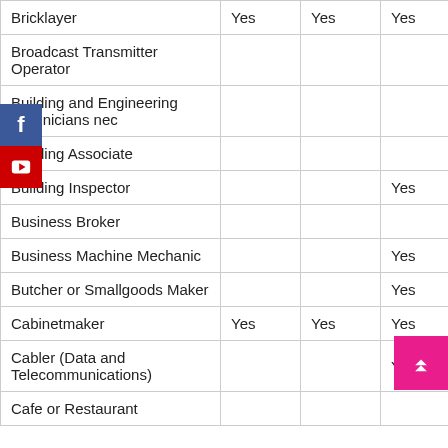| Occupation | Col2 | Col3 | Col4 | Col5 | Col6 |
| --- | --- | --- | --- | --- | --- |
| Bricklayer | Yes | Yes | Yes | Yes |  |
| Broadcast Transmitter Operator |  |  |  |  |  |
| Building and Engineering Technicians nec |  |  |  | Yes |  |
| Building Associate |  |  |  |  |  |
| Building Inspector |  |  | Yes |  | Ye... |
| Business Broker |  |  |  |  |  |
| Business Machine Mechanic |  |  | Yes |  | Ye... |
| Butcher or Smallgoods Maker |  |  | Yes |  | Ye... |
| Cabinetmaker | Yes | Yes | Yes | Yes |  |
| Cabler (Data and Telecommunications) |  |  | Yes |  | Ye... |
| Cafe or Restaurant ... |  |  |  |  |  |